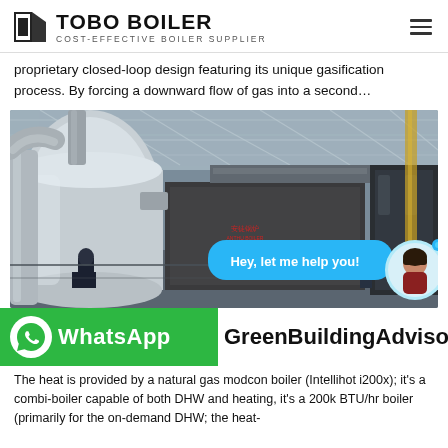TOBO BOILER COST-EFFECTIVE BOILER SUPPLIER
proprietary closed-loop design featuring its unique gasification process. By forcing a downward flow of gas into a second…
[Figure (photo): Industrial boiler equipment inside a large factory/warehouse. A large silver cylindrical boiler unit with connecting pipes is visible, along with black/dark colored secondary equipment. A worker is visible in the foreground. The facility has a steel truss roof. A live chat bubble 'Hey, let me help you!' with an avatar is overlaid at bottom right.]
GreenBuildingAdvisor
The heat is provided by a natural gas modcon boiler (Intellihot i200x); it's a combi-boiler capable of both DHW and heating, it's a 200k BTU/hr boiler (primarily for the on-demand DHW; the heat-